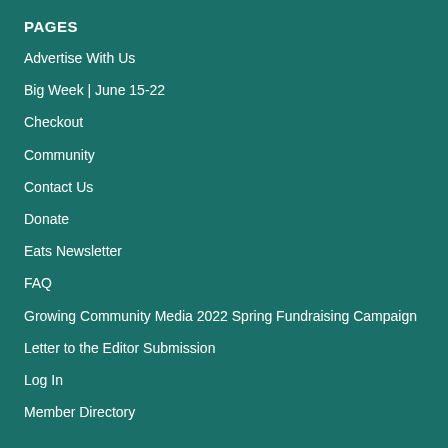PAGES
Advertise With Us
Big Week | June 15-22
Checkout
Community
Contact Us
Donate
Eats Newsletter
FAQ
Growing Community Media 2022 Spring Fundraising Campaign
Letter to the Editor Submission
Log In
Member Directory